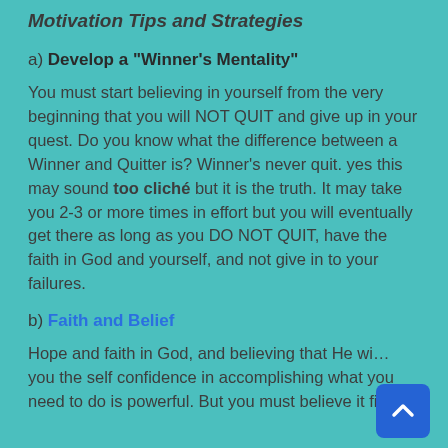Motivation Tips and Strategies
a) Develop a “Winner’s Mentality”
You must start believing in yourself from the very beginning that you will NOT QUIT and give up in your quest. Do you know what the difference between a Winner and Quitter is? Winner’s never quit. yes this may sound too cliché but it is the truth. It may take you 2-3 or more times in effort but you will eventually get there as long as you DO NOT QUIT, have the faith in God and yourself, and not give in to your failures.
b) Faith and Belief
Hope and faith in God, and believing that He wi… you the self confidence in accomplishing what you need to do is powerful. But you must believe it first.